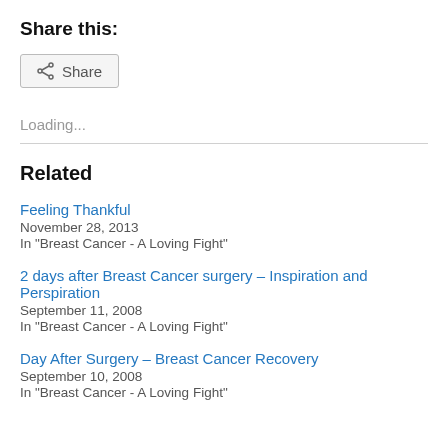Share this:
[Figure (screenshot): Share button with share icon and label]
Loading...
Feeling Thankful
November 28, 2013
In "Breast Cancer - A Loving Fight"
2 days after Breast Cancer surgery – Inspiration and Perspiration
September 11, 2008
In "Breast Cancer - A Loving Fight"
Day After Surgery – Breast Cancer Recovery
September 10, 2008
In "Breast Cancer - A Loving Fight"